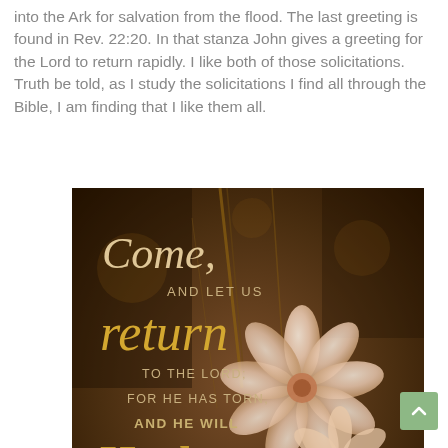into the Ark for salvation from the flood. The last greeting is found in Rev. 22:20. In that stanza John gives a greeting for the Lord to return rapidly. I like both of those solicitations. Truth be told, as I study the solicitations I find all through the Bible, I am finding that I like them all.
[Figure (illustration): Inspirational quote image with warm brown bokeh background and white flower. Text reads: 'Come, AND LET US return TO THE LORD; FOR HE HAS TORN, AND HE WILL Heal us; HE HAS STRICKEN, BUT HE WILL BIND US UP.' with Hosea 6:one attribution and alittleperspective.com watermark.]